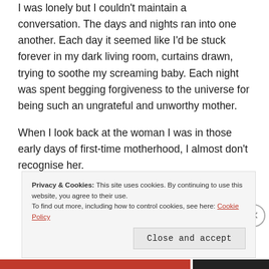I was lonely but I couldn't maintain a conversation. The days and nights ran into one another. Each day it seemed like I'd be stuck forever in my dark living room, curtains drawn, trying to soothe my screaming baby. Each night was spent begging forgiveness to the universe for being such an ungrateful and unworthy mother.
When I look back at the woman I was in those early days of first-time motherhood, I almost don't recognise her.
Privacy & Cookies: This site uses cookies. By continuing to use this website, you agree to their use. To find out more, including how to control cookies, see here: Cookie Policy
Close and accept